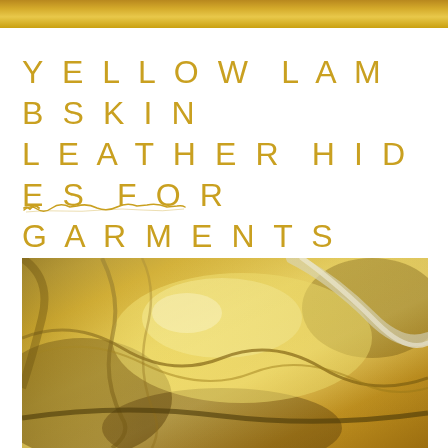YELLOW LAMBSKIN LEATHER HIDES FOR GARMENTS
[Figure (photo): Shiny golden/yellow metallic lambskin leather hide with reflective folds and creases, photographed close up]
[Figure (illustration): Decorative handwritten signature/underline graphic in gold ink]